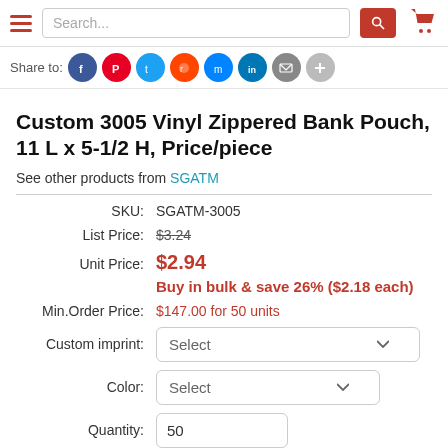Search... [search button] [cart icon]
Share to: [social icons: Facebook, Pinterest, Twitter, Reddit, Messenger, LinkedIn, Email, Plus]
Custom 3005 Vinyl Zippered Bank Pouch, 11 L x 5-1/2 H, Price/piece
See other products from SGATM
| Label | Value |
| --- | --- |
| SKU: | SGATM-3005 |
| List Price: | $3.24 |
| Unit Price: | $2.94 |
|  | Buy in bulk & save 26% ($2.18 each) |
| Min.Order Price: | $147.00 for 50 units |
| Custom imprint: | Select |
| Color: | Select |
| Quantity: | 50 |